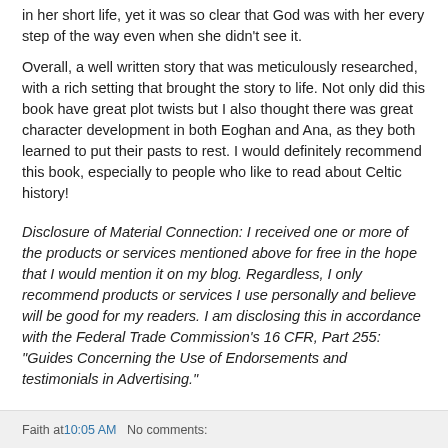in her short life, yet it was so clear that God was with her every step of the way even when she didn't see it.
Overall, a well written story that was meticulously researched, with a rich setting that brought the story to life. Not only did this book have great plot twists but I also thought there was great character development in both Eoghan and Ana, as they both learned to put their pasts to rest. I would definitely recommend this book, especially to people who like to read about Celtic history!
Disclosure of Material Connection: I received one or more of the products or services mentioned above for free in the hope that I would mention it on my blog. Regardless, I only recommend products or services I use personally and believe will be good for my readers. I am disclosing this in accordance with the Federal Trade Commission's 16 CFR, Part 255: "Guides Concerning the Use of Endorsements and testimonials in Advertising."
Faith at 10:05 AM   No comments: